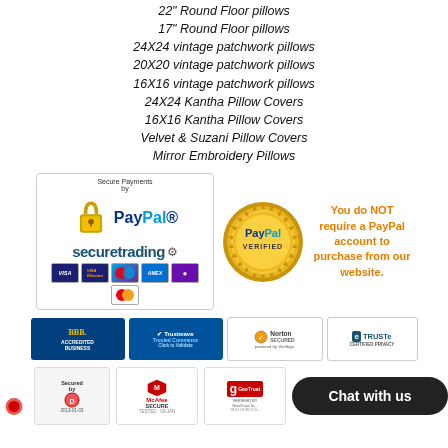22" Round Floor pillows
17" Round Floor pillows
24X24 vintage patchwork pillows
20X20 vintage patchwork pillows
16X16 vintage patchwork pillows
24X24 Kantha Pillow Covers
16X16 Kantha Pillow Covers
Velvet & Suzani Pillow Covers
Mirror Embroidery Pillows
[Figure (infographic): Payment security badges: PayPal secure payments with lock icon and securetrading logo and card icons, PayPal Verified seal, and orange text saying 'You do NOT require a PayPal account to purchase from our website.']
[Figure (infographic): Trust badges row: BBB Accredited Business, Trustwave Trusted Commerce, Norton Secured by VeriSign, TRUSTe Certified Privacy]
[Figure (infographic): Bottom trust badges row: Secured by DigiCert 2013-01-03, McAfee SECURE TESTED 03-JAN, GeoTrust Verified badge, and Chat with us button]